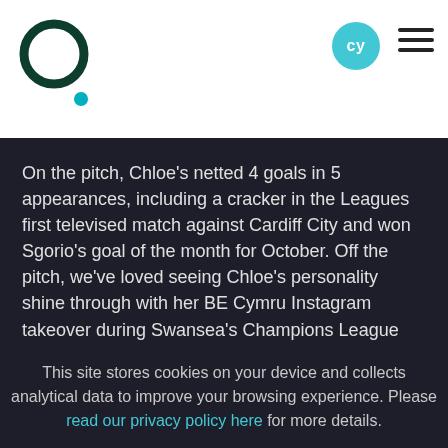[Figure (logo): Dark green circular ring logo with teal dot, website header logo]
cy
On the pitch, Chloe's netted 4 goals in 5 appearances, including a cracker in the Leagues first televised match against Cardiff City and won Sgorio's goal of the month for October. Off the pitch, we've loved seeing Chloe's personality shine through with her BE Cymru Instagram takeover during Swansea's Champions League
This site stores cookies on your device and collects analytical data to improve your browsing experience. Please read our privacy policy here for more details.
ACCEPT
DECLINE